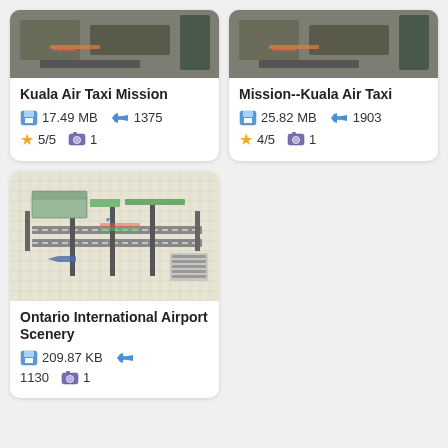[Figure (screenshot): Aerial satellite image for Kuala Air Taxi Mission card]
Kuala Air Taxi Mission
17.49 MB   1375   5/5   1
[Figure (screenshot): Aerial satellite image for Mission--Kuala Air Taxi card]
Mission--Kuala Air Taxi
25.82 MB   1903   4/5   1
[Figure (engineering-diagram): Top-down airport layout diagram for Ontario International Airport Scenery]
Ontario International Airport Scenery
209.87 KB   1130   1